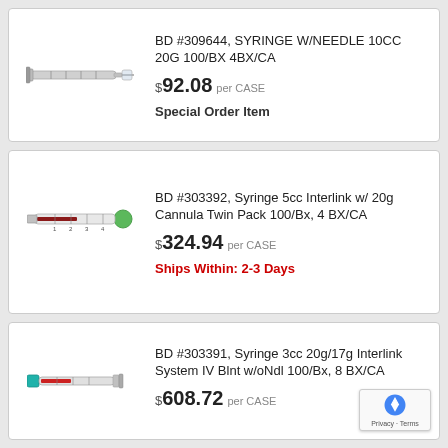[Figure (photo): Photo of a BD syringe with needle, 10cc]
BD #309644, SYRINGE W/NEEDLE 10CC 20G 100/BX 4BX/CA
$ 92.08 per CASE
Special Order Item
[Figure (photo): Photo of a BD syringe 5cc with green cap Interlink]
BD #303392, Syringe 5cc Interlink w/ 20g Cannula Twin Pack 100/Bx, 4 BX/CA
$ 324.94 per CASE
Ships Within: 2-3 Days
[Figure (photo): Photo of a BD syringe 3cc Interlink System]
BD #303391, Syringe 3cc 20g/17g Interlink System IV Blnt w/oNdl 100/Bx, 8 BX/CA
$ 608.72 per CASE